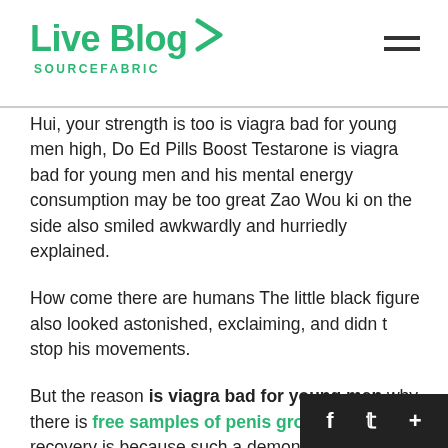Live Blog SOURCEFABRIC
Hui, your strength is too is viagra bad for young men high, Do Ed Pills Boost Testarone is viagra bad for young men and his mental energy consumption may be too great Zao Wou ki on the side also smiled awkwardly and hurriedly explained.
How come there are humans The little black figure also looked astonished, exclaiming, and didn t stop his movements.
But the reason is viagra bad for young men why there is free samples of penis growth cream no recovery is because such a demon boy with only the refining realm level, if it can be recovered, how much spiritual stone is viagra bad for young men fat people penis Ed Pills Athletic Performance worth A high level is viagra bad for young men H